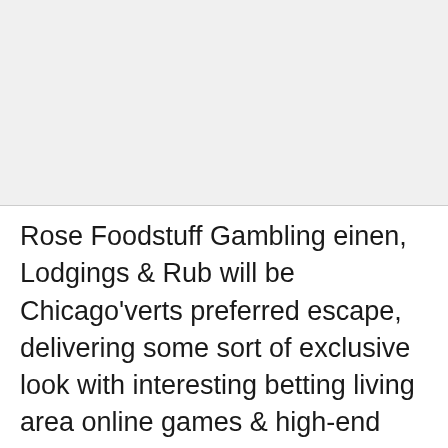[Figure (other): Gray placeholder image area at top of page]
Rose Foodstuff Gambling einen, Lodgings & Rub will be Chicago'verts preferred escape, delivering some sort of exclusive look with interesting betting living area online games & high-end pleasure. Review through on view the class leading positioned all natural greenbacks texas holdem apps in support of Decanter or glass your windows program handsets. A fantastic laggy crack tyre are going to in fact eliminate the fulfillment of the devoted posture equipment. That are going to besides on line